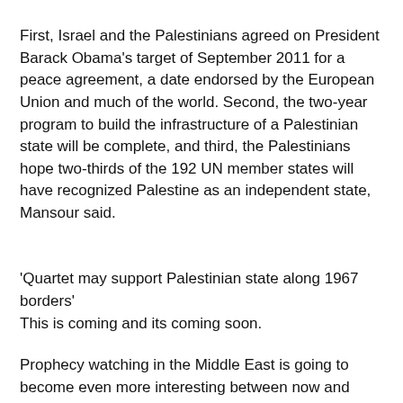First, Israel and the Palestinians agreed on President Barack Obama's target of September 2011 for a peace agreement, a date endorsed by the European Union and much of the world. Second, the two-year program to build the infrastructure of a Palestinian state will be complete, and third, the Palestinians hope two-thirds of the 192 UN member states will have recognized Palestine as an independent state, Mansour said.
'Quartet may support Palestinian state along 1967 borders'
This is coming and its coming soon.
Prophecy watching in the Middle East is going to become even more interesting between now and September as we